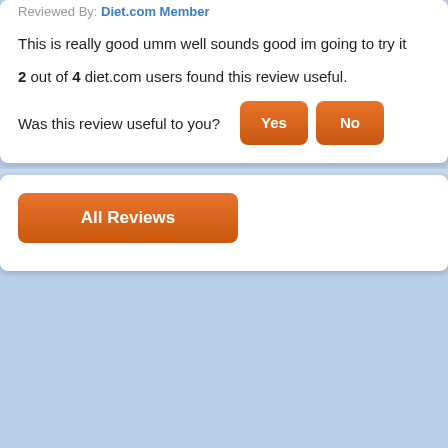Reviewed By: Diet.com Member
This is really good umm well sounds good im going to try it
2 out of 4 diet.com users found this review useful.
Was this review useful to you?
All Reviews